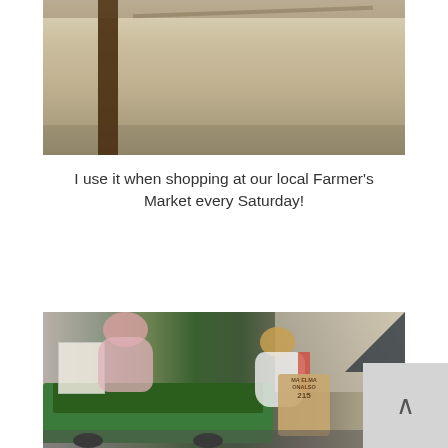[Figure (photo): Top portion of a photo showing a wooden structure interior/ceiling, partially cropped]
I use it when shopping at our local Farmer's Market every Saturday!
[Figure (photo): Photo of a woman shopping at a farmer's market, picking up vegetables from a green truck bed/cart, while another person assists. The woman carries a burlap tote bag with the number 215 on it.]